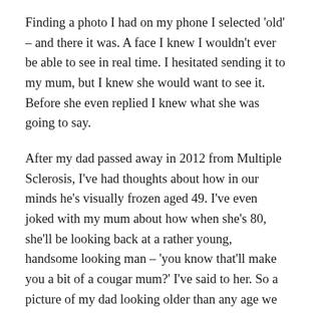Finding a photo I had on my phone I selected 'old' – and there it was. A face I knew I wouldn't ever be able to see in real time. I hesitated sending it to my mum, but I knew she would want to see it. Before she even replied I knew what she was going to say.
After my dad passed away in 2012 from Multiple Sclerosis, I've had thoughts about how in our minds he's visually frozen aged 49. I've even joked with my mum about how when she's 80, she'll be looking back at a rather young, handsome looking man – 'you know that'll make you a bit of a cougar mum?' I've said to her. So a picture of my dad looking older than any age we knew we would ever see him as, was more than just that. It was a reminder of the privilege in seeing yourself that old, seeing anyone that old. The more I looked at my older face, the more I wanted